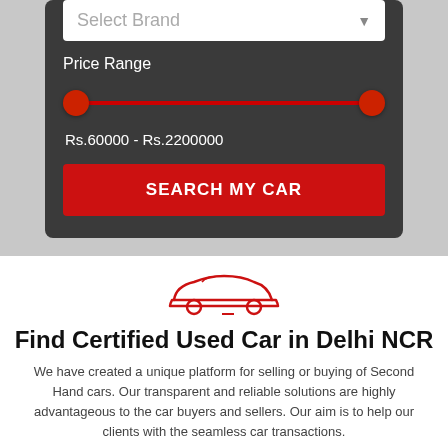Select Brand
Price Range
Rs.60000 - Rs.2200000
SEARCH MY CAR
[Figure (illustration): Red outline icon of a car (sedan) viewed from the side]
Find Certified Used Car in Delhi NCR
We have created a unique platform for selling or buying of Second Hand cars. Our transparent and reliable solutions are highly advantageous to the car buyers and sellers. Our aim is to help our clients with the seamless car transactions.
[Figure (illustration): Red outline icon of a car (sedan) viewed from the side]
Recently Added